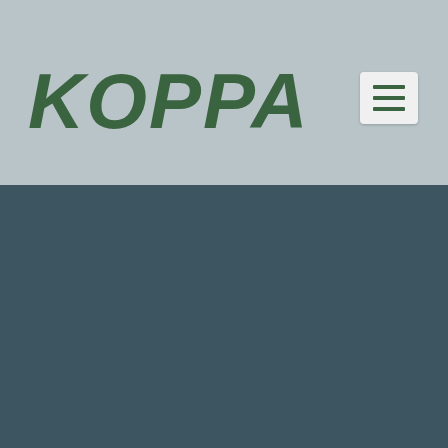KOPPA
[Figure (screenshot): Dark teal/slate colored background area filling the lower portion of the page, appearing to be a hero section or content area of a website.]